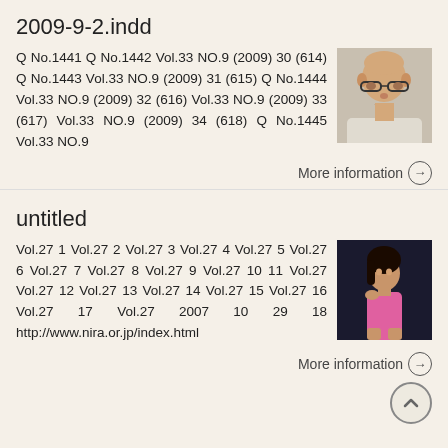2009-9-2.indd
Q No.1441 Q No.1442 Vol.33 NO.9 (2009) 30 (614) Q No.1443 Vol.33 NO.9 (2009) 31 (615) Q No.1444 Vol.33 NO.9 (2009) 32 (616) Vol.33 NO.9 (2009) 33 (617) Vol.33 NO.9 (2009) 34 (618) Q No.1445 Vol.33 NO.9
More information →
untitled
Vol.27 1 Vol.27 2 Vol.27 3 Vol.27 4 Vol.27 5 Vol.27 6 Vol.27 7 Vol.27 8 Vol.27 9 Vol.27 10 11 Vol.27 Vol.27 12 Vol.27 13 Vol.27 14 Vol.27 15 Vol.27 16 Vol.27 17 Vol.27 2007 10 29 18 http://www.nira.or.jp/index.html
More information →